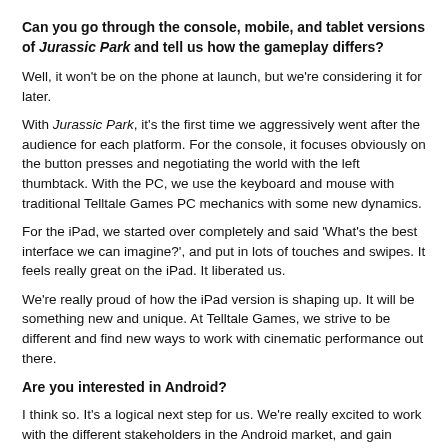Can you go through the console, mobile, and tablet versions of Jurassic Park and tell us how the gameplay differs?
Well, it won't be on the phone at launch, but we're considering it for later.
With Jurassic Park, it's the first time we aggressively went after the audience for each platform. For the console, it focuses obviously on the button presses and negotiating the world with the left thumbtack. With the PC, we use the keyboard and mouse with traditional Telltale Games PC mechanics with some new dynamics.
For the iPad, we started over completely and said 'What's the best interface we can imagine?', and put in lots of touches and swipes. It feels really great on the iPad. It liberated us.
We're really proud of how the iPad version is shaping up. It will be something new and unique. At Telltale Games, we strive to be different and find new ways to work with cinematic performance out there.
Are you interested in Android?
I think so. It's a logical next step for us. We're really excited to work with the different stakeholders in the Android market, and gain access to a larger audience.